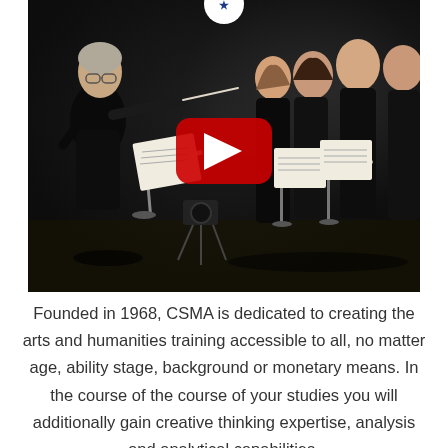[Figure (photo): A conductor in black leading a choir of singers dressed in black on a dark stage, with a YouTube play button overlay in the center of the image.]
Founded in 1968, CSMA is dedicated to creating the arts and humanities training accessible to all, no matter age, ability stage, background or monetary means. In the course of the course of your studies you will additionally gain creative thinking expertise, analysis and analytical capabilities.